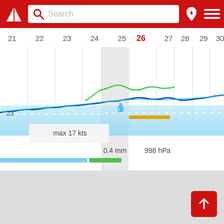[Figure (screenshot): Windguru/weather app header with red background, logo, search bar, location pin icon, and hamburger menu]
[Figure (line-chart): Weather forecast chart showing wind speed timeline for days 21-30, with colored lines indicating wind and wave conditions, highlighted day 26 in red, tooltip showing max 17 kts, 0.4 mm precipitation, 998 hPa pressure]
[Figure (map): Gray map area below the forecast chart]
max 17 kts
0.4 mm
998 hPa